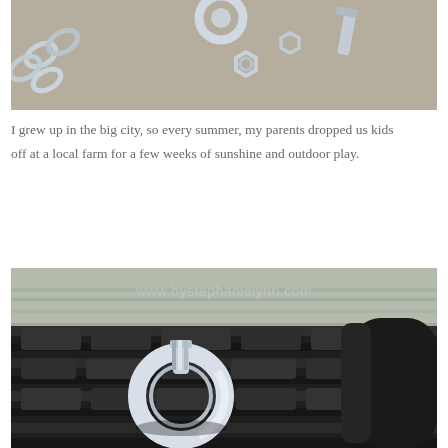[Figure (photo): Close-up photo of hardware items including chain links, bolts, nuts, and screws on a sandy/concrete surface]
I grew up in the big city, so every summer, my parents dropped us kids off at a local farm for a few weeks of sunshine and outdoor play.
[Figure (photo): Close-up photo of a metal eye bolt ring sitting on top of a black rubber tire tread, with blurred background]